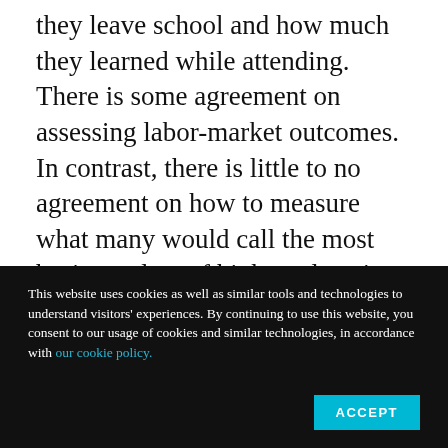they leave school and how much they learned while attending. There is some agreement on assessing labor-market outcomes. In contrast, there is little to no agreement on how to measure what many would call the most basic product of higher education: student learning.
Related: They still value a degree, but Americans increasingly question the cost
This website uses cookies as well as similar tools and technologies to understand visitors' experiences. By continuing to use this website, you consent to our usage of cookies and similar technologies, in accordance with our cookie policy.